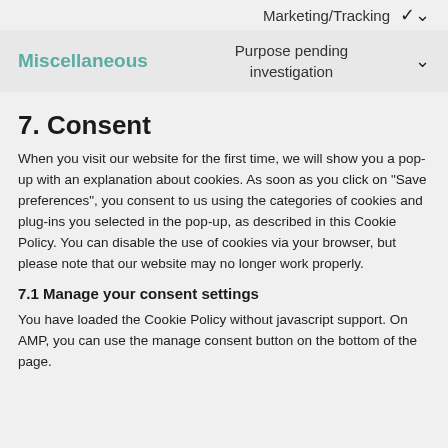Marketing/Tracking
Miscellaneous   Purpose pending investigation
7. Consent
When you visit our website for the first time, we will show you a pop-up with an explanation about cookies. As soon as you click on "Save preferences", you consent to us using the categories of cookies and plug-ins you selected in the pop-up, as described in this Cookie Policy. You can disable the use of cookies via your browser, but please note that our website may no longer work properly.
7.1 Manage your consent settings
You have loaded the Cookie Policy without javascript support. On AMP, you can use the manage consent button on the bottom of the page.